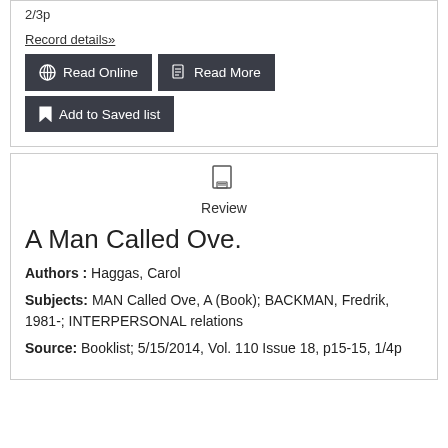2/3p
Record details»
🌐 Read Online
📄 Read More
🔖 Add to Saved list
Review
A Man Called Ove.
Authors : Haggas, Carol
Subjects: MAN Called Ove, A (Book); BACKMAN, Fredrik, 1981-; INTERPERSONAL relations
Source: Booklist; 5/15/2014, Vol. 110 Issue 18, p15-15, 1/4p